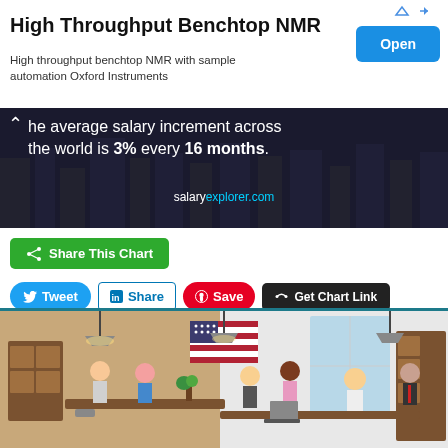[Figure (infographic): Ad banner: High Throughput Benchtop NMR with sample automation Oxford Instruments, with blue Open button and arrow icons]
[Figure (infographic): Dark promotional banner: the average salary increment across the world is 3% every 16 months. salaryexplorer.com]
Share This Chart
Tweet | Share | Save | Get Chart Link
[Figure (illustration): Cartoon office illustration with US flag and diverse workers in office setting]